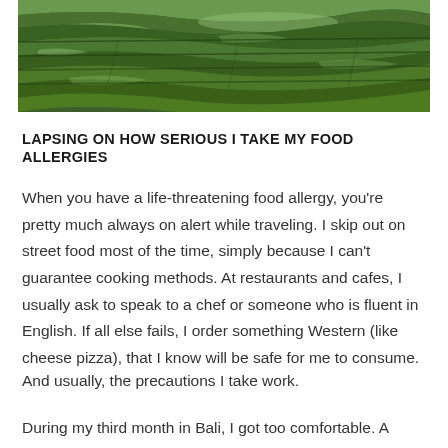[Figure (photo): Aerial view of green rice terraces in Bali with water reflections]
LAPSING ON HOW SERIOUS I TAKE MY FOOD ALLERGIES
When you have a life-threatening food allergy, you're pretty much always on alert while traveling. I skip out on street food most of the time, simply because I can't guarantee cooking methods. At restaurants and cafes, I usually ask to speak to a chef or someone who is fluent in English. If all else fails, I order something Western (like cheese pizza), that I know will be safe for me to consume.
And usually, the precautions I take work.
During my third month in Bali, I got too comfortable. A